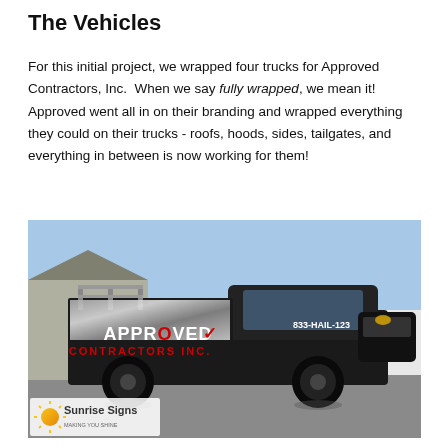The Vehicles
For this initial project, we wrapped four trucks for Approved Contractors, Inc.  When we say fully wrapped, we mean it! Approved went all in on their branding and wrapped everything they could on their trucks - roofs, hoods, sides, tailgates, and everything in between is now working for them!
[Figure (photo): A fully wrapped black pickup truck branded with Approved Contractors Inc. logo and phone number 833-HAIL-123, with a Sunrise Signs watermark in the lower left corner.]